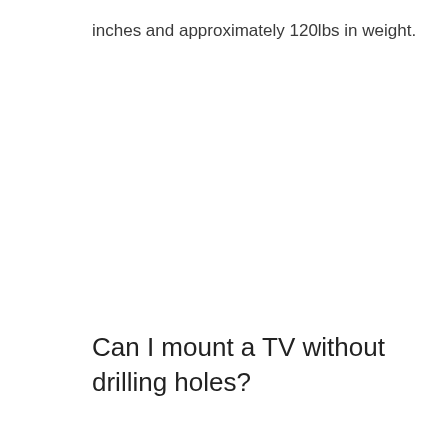inches and approximately 120lbs in weight.
Can I mount a TV without drilling holes?